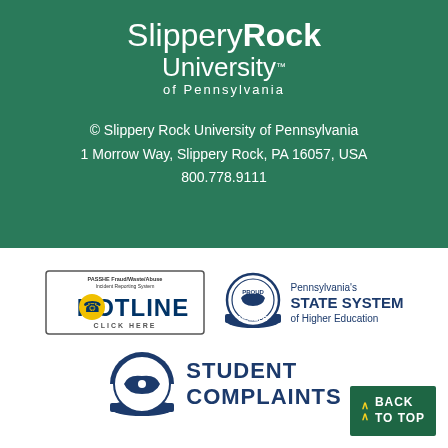[Figure (logo): Slippery Rock University of Pennsylvania logo with white text on green background]
© Slippery Rock University of Pennsylvania
1 Morrow Way, Slippery Rock, PA 16057, USA
800.778.9111
[Figure (logo): PASSHE Fraud/Waste/Abuse Incident Reporting System HOTLINE - CLICK HERE badge]
[Figure (logo): Pennsylvania's STATE SYSTEM of Higher Education - Proud Member badge]
[Figure (logo): Student Complaints logo with Pennsylvania state silhouette]
BACK TO TOP